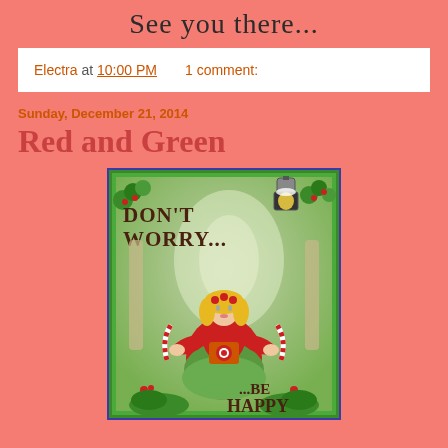See you there...
Electra at 10:00 PM    1 comment:
Sunday, December 21, 2014
Red and Green
[Figure (illustration): Christmas-themed illustration featuring a whimsical character in a red dress seated among holiday decorations with text 'DON'T WORRY... ...BE HAPPY']